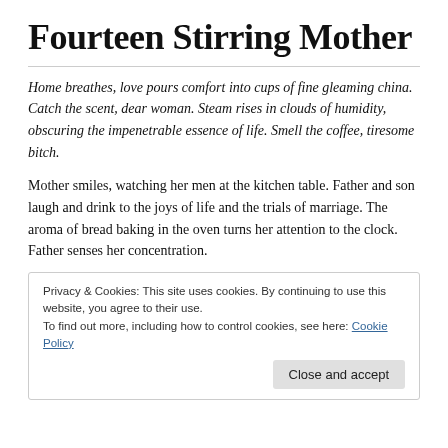Fourteen Stirring Mother
Home breathes, love pours comfort into cups of fine gleaming china. Catch the scent, dear woman. Steam rises in clouds of humidity, obscuring the impenetrable essence of life. Smell the coffee, tiresome bitch.
Mother smiles, watching her men at the kitchen table. Father and son laugh and drink to the joys of life and the trials of marriage. The aroma of bread baking in the oven turns her attention to the clock. Father senses her concentration.
Privacy & Cookies: This site uses cookies. By continuing to use this website, you agree to their use.
To find out more, including how to control cookies, see here: Cookie Policy